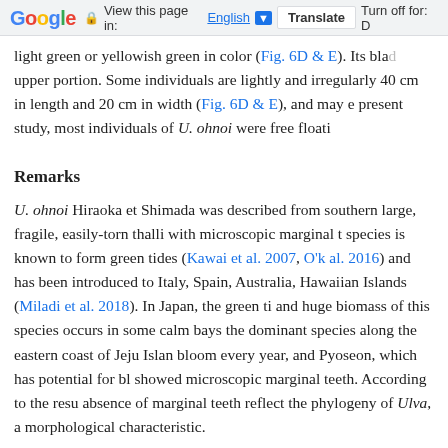Google — View this page in: English [▼] Translate  Turn off for: D
light green or yellowish green in color (Fig. 6D & E). Its blad upper portion. Some individuals are lightly and irregularly 40 cm in length and 20 cm in width (Fig. 6D & E), and may e present study, most individuals of U. ohnoi were free floati
Remarks
U. ohnoi Hiraoka et Shimada was described from southern large, fragile, easily-torn thalli with microscopic marginal t species is known to form green tides (Kawai et al. 2007, O'K al. 2016) and has been introduced to Italy, Spain, Australia, Hawaiian Islands (Miladi et al. 2018). In Japan, the green ti and huge biomass of this species occurs in some calm bays the dominant species along the eastern coast of Jeju Island bloom every year, and Pyoseon, which has potential for blo showed microscopic marginal teeth. According to the resu absence of marginal teeth reflect the phylogeny of Ulva, a morphological characteristic.